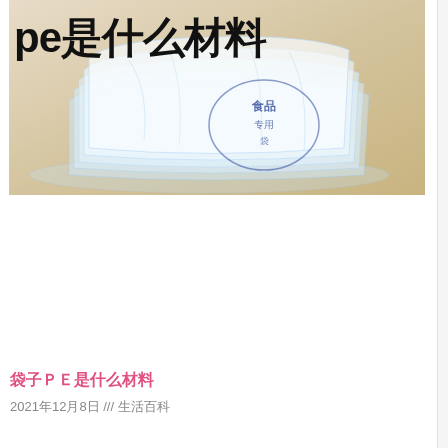[Figure (photo): Photo of transparent PE plastic bags stacked on a beige surface, with Chinese text overlay reading 'pe是什么材料' (What material is PE)]
袋子PE是什么材料
2021年12月8日 /// 生活百科